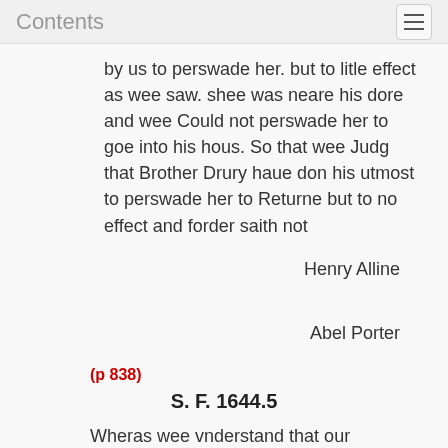Contents
by us to perswade her. but to litle effect as wee saw. shee was neare his dore and wee Could not perswade her to goe into his hous. So that wee Judg that Brother Drury haue don his utmost to perswade her to Returne but to no effect and forder saith not
Henry Alline

Abel Porter
(p 838)
S. F. 1644.5
Wheras wee vnderstand that our Ioveing and well Respected Brother D...